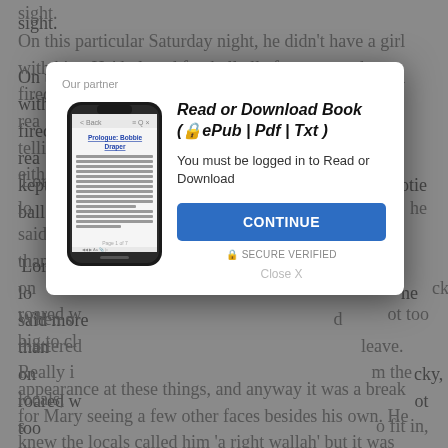sight.
On this particular Saturday night, he didn't have a girl with him. He'd played football all afternoon and was fired up and rea... e kept telling a... otie ball eith...
'Lord lo... he said more than on... cky, roared w... ot too big to cl...
[Figure (screenshot): Modal dialog popup with 'Our partner' label, smartphone image showing ebook page, bold italic heading 'Read or Download Book (🔒ePub | Pdf | Txt)', text 'You must be logged in to Read or Download', blue CONTINUE button, SECURE VERIFIED text, and Close X link]
When s... d muttered... leave. Really i... m the locals, s... o fit in, there w...
appearance at these things, and anyway it was a break for Mary seeing a few other faces besides his own. He knew the locals called him 'a right wallah' but it was rather